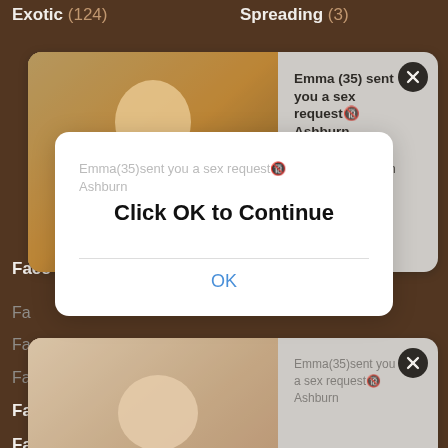Exotic (124)
Spreading (3)
Face (154)
Story (76)
Fat (80)
Favorite (4)
Feet (115)
Femdom (185)
Sucking (142)
Fetish (117)
Summer (41)
Ffm (23)
Surprise (30)
Fingering (253)
Swallow (202)
Fisting (84)
Swapping (6)
Fitness (7)
Swedish (12)
[Figure (screenshot): Notification card 1 with photo of woman in orange, text: Emma (35) sent you a sex request Ashburn. Tap and get her contact Ashburn]
[Figure (screenshot): Notification card 2 with photo, faded text: Emma(35)sent you a sex request Ashburn]
Click OK to Continue
OK